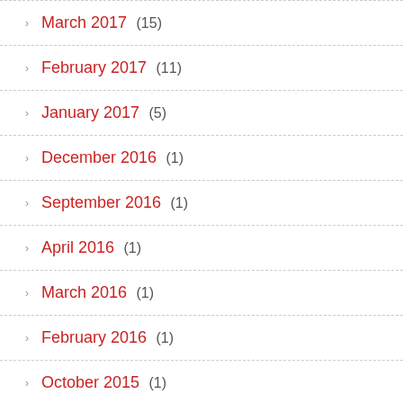March 2017 (15)
February 2017 (11)
January 2017 (5)
December 2016 (1)
September 2016 (1)
April 2016 (1)
March 2016 (1)
February 2016 (1)
October 2015 (1)